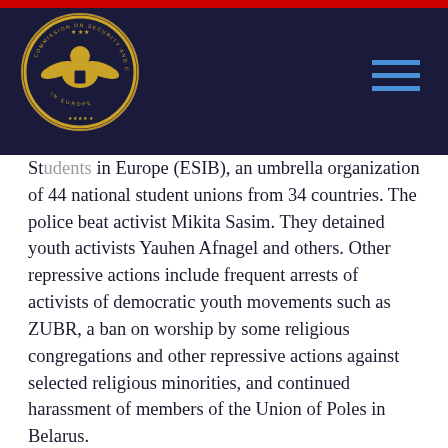student Tatsyana Khoma because she took a brief trip
Students in Europe (ESIB), an umbrella organization of 44 national student unions from 34 countries. The police beat activist Mikita Sasim. They detained youth activists Yauhen Afnagel and others. Other repressive actions include frequent arrests of activists of democratic youth movements such as ZUBR, a ban on worship by some religious congregations and other repressive actions against selected religious minorities, and continued harassment of members of the Union of Poles in Belarus.
Moreover, there is an emerging pattern of the regime putting obstacles in the way of Mr. Milinkevich. Recently, a public meeting he held in Borbuisk was disrupted by the authorities, with participants being told by the authorities to go home and threatened with